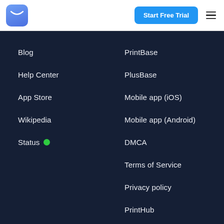[Figure (logo): Blue rounded square logo with white envelope/smile icon]
Start Free Trial
Blog
Help Center
App Store
Wikipedia
Status ●
PrintBase
PlusBase
Mobile app (iOS)
Mobile app (Android)
DMCA
Terms of Service
Privacy policy
PrintHub